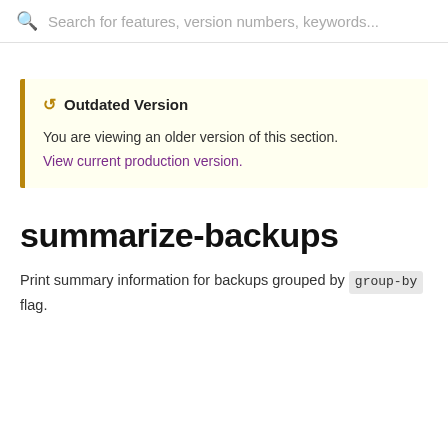Search for features, version numbers, keywords...
Outdated Version
You are viewing an older version of this section.
View current production version.
summarize-backups
Print summary information for backups grouped by group-by flag.